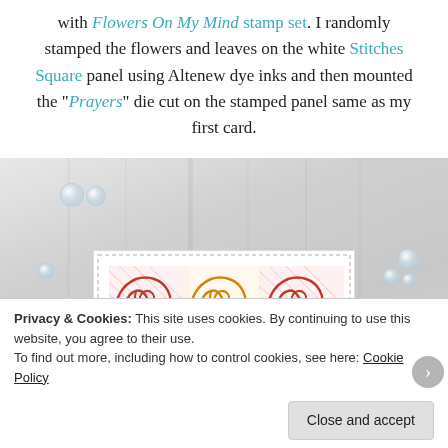with Flowers On My Mind stamp set. I randomly stamped the flowers and leaves on the white Stitches Square panel using Altenew dye inks and then mounted the "Prayers" die cut on the stamped panel same as my first card.
[Figure (photo): Photo of a handmade card with stamped roses (red/crimson and orange/yellow) on a white panel with dashed border, placed on a light wood surface with clear crystal gem embellishments scattered around]
Privacy & Cookies: This site uses cookies. By continuing to use this website, you agree to their use.
To find out more, including how to control cookies, see here: Cookie Policy